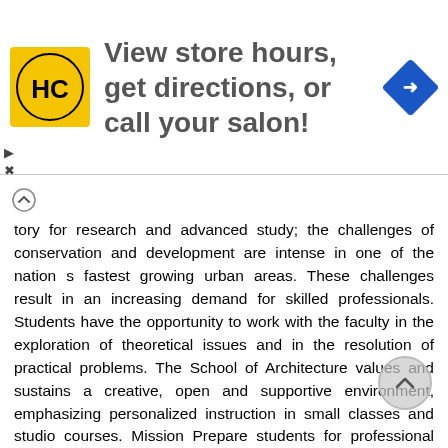[Figure (infographic): Advertisement banner: HC logo (yellow circle with HC letters), text 'View store hours, get directions, or call your salon!', blue diamond navigation icon on right]
tory for research and advanced study; the challenges of conservation and development are intense in one of the nation s fastest growing urban areas. These challenges result in an increasing demand for skilled professionals. Students have the opportunity to work with the faculty in the exploration of theoretical issues and in the resolution of practical problems. The School of Architecture values and sustains a creative, open and supportive environment, emphasizing personalized instruction in small classes and studio courses. Mission Prepare students for professional leadership and lifelong learning in architecture, urbanism and related fields. Preserve and develop knowledge for the profession through research and practice. Share knowledge locally and internationally through community service. Promote building and community design goals of environmental responsibility, social equity and economic sustainability. Accreditation The school is a member of the Association of